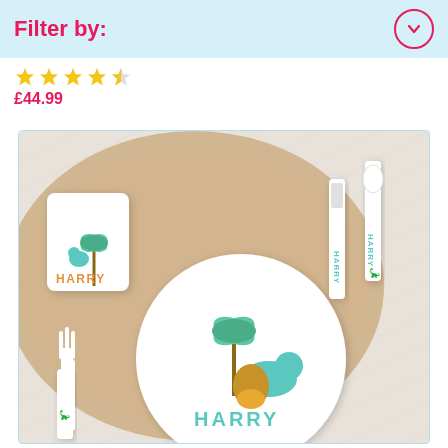Filter by:
★★★★☆ £44.99
[Figure (photo): Personalised children's dinosaur dinner set on a wooden board, including a white plate, cup, knife, fork and spoon, all printed with dinosaur illustrations and the name HARRY in teal/orange lettering.]